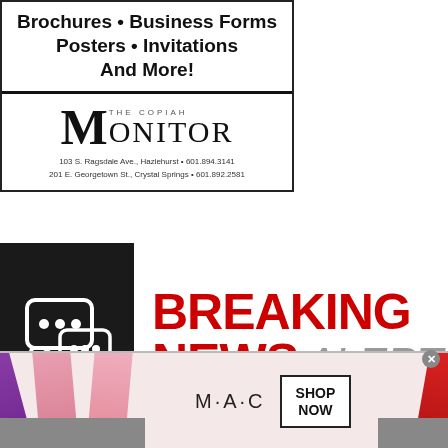[Figure (infographic): Print advertisement for The Copiah Monitor newspaper. Lists services: Brochures • Business Forms, Posters • Invitations, And More! with the newspaper logo and two addresses: 103 S. Ragsdale Ave., Hazlehurst 601.894.3141 and 201 E. Georgetown St., Crystal Springs 601.892.2581]
[Figure (infographic): Breaking News Alerts advertisement with chat bubble icon on dark background and large red 'BREAKING NEWS' with grey 'ALERTS' text]
[Figure (infographic): MAC Cosmetics advertisement showing lipsticks with MAC logo and 'SHOP NOW' button in a bordered box. Close button (x) in top right.]